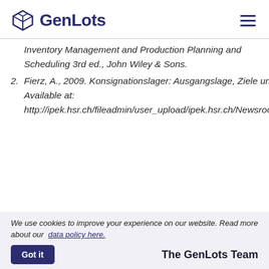GenLots
Inventory Management and Production Planning and Scheduling 3rd ed., John Wiley & Sons.
2. Fierz, A., 2009. Konsignationslager: Ausgangslage, Ziele und Konzeption zur Umsetzung. Available at: http://ipek.hsr.ch/fileadmin/user_upload/ipek.hsr.ch/Newsroom/events/2009/0911_innovationst
We use cookies to improve your experience on our website. Read more about our data policy here.
Got it
The GenLots Team